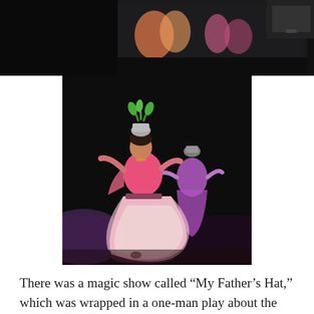[Figure (photo): Top portion of a stage performance photo showing colorful dancers in pink costumes and a dark stage background with a screen visible at top]
[Figure (photo): Two Indian classical dancers in bright pink lehengas (flowing skirts) with silver pots balanced on their heads, performing on a dark stage with purple/pink lighting]
There was a magic show called “My Father’s Hat,” which was wrapped in a one-man play about the magician, his son and his father.  The performer gave me a ride back to